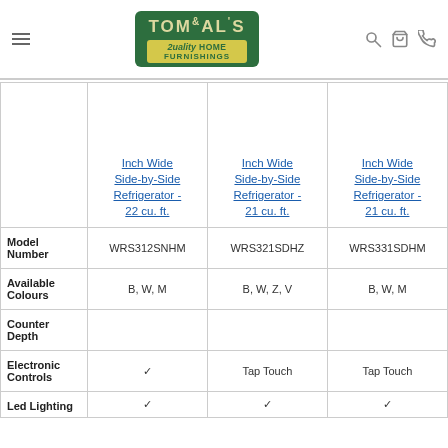Tom & Al's Quality Home Furnishings
|  | Inch Wide Side-by-Side Refrigerator - 22 cu. ft. | Inch Wide Side-by-Side Refrigerator - 21 cu. ft. | Inch Wide Side-by-Side Refrigerator - 21 cu. ft. |
| --- | --- | --- | --- |
| Model Number | WRS312SNHM | WRS321SDHZ | WRS331SDHM |
| Available Colours | B, W, M | B, W, Z, V | B, W, M |
| Counter Depth |  |  |  |
| Electronic Controls | ✓ | Tap Touch | Tap Touch |
| Led Lighting | ✓ | ✓ | ✓ |